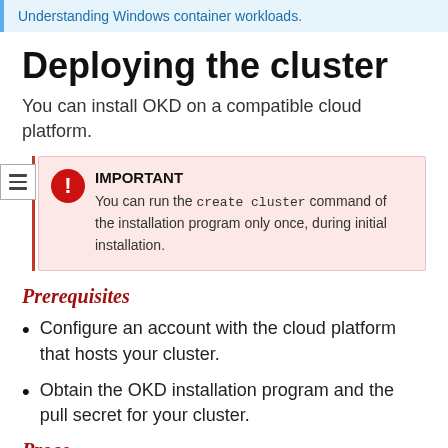Understanding Windows container workloads.
Deploying the cluster
You can install OKD on a compatible cloud platform.
IMPORTANT
You can run the create cluster command of the installation program only once, during initial installation.
Prerequisites
Configure an account with the cloud platform that hosts your cluster.
Obtain the OKD installation program and the pull secret for your cluster.
Procedure